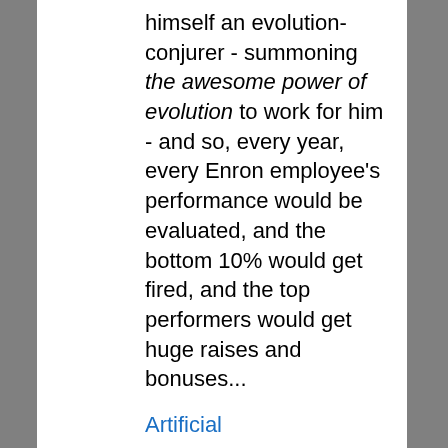himself an evolution-conjurer - summoning the awesome power of evolution to work for him - and so, every year, every Enron employee's performance would be evaluated, and the bottom 10% would get fired, and the top performers would get huge raises and bonuses...
Artificial